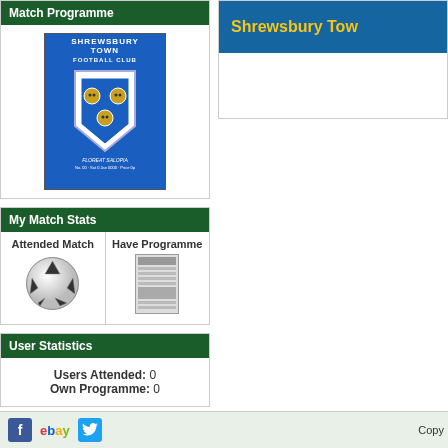Match Programme
[Figure (photo): Shrewsbury Town Football Club match programme cover with blue shield crest and text 'SHREWSBURY TOWN FOOTBALL CLUB']
My Match Stats
[Figure (photo): Soccer ball icon representing Attended Match]
Attended Match
[Figure (photo): Small greyscale programme thumbnail representing Have Programme]
Have Programme
User Statistics
Users Attended: 0
Own Programme: 0
Shrewsbury Tow
Copy